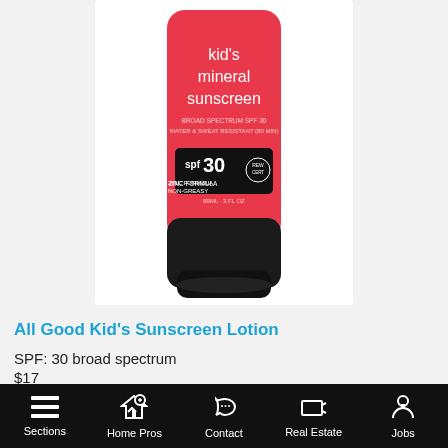[Figure (photo): A red tube of All Good Kid's Mineral Sunscreen SPF 30 with black cap, broad spectrum, water and sweat resistant, zinc formula, non-greasy, 89mL / 3 fl oz]
All Good Kid's Sunscreen Lotion
SPF: 30 broad spectrum
$17
Having a sunscreen that will be gentle on your kid's skin is something that many parents look for. All Good adds
Sections  Home Pros  Contact  Real Estate  Jobs